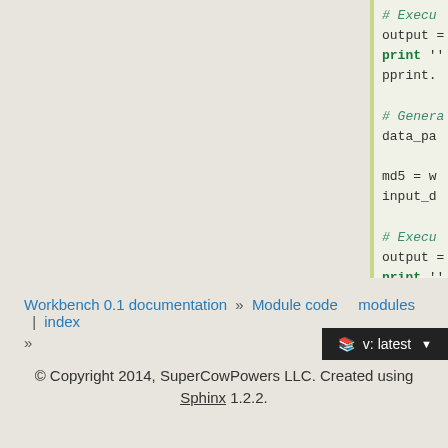[Figure (screenshot): Partial Python code block showing code with comments (# Execu..., # Genera..., # Execu...), output assignments, print keywords, pprint calls, md5 and input_da variables, an if __name__ block, and test() call. Code panel has light green-tinted background with green left border.]
Workbench 0.1 documentation » Module code modules | index »
© Copyright 2014, SuperCowPowers LLC. Created using Sphinx 1.2.2.